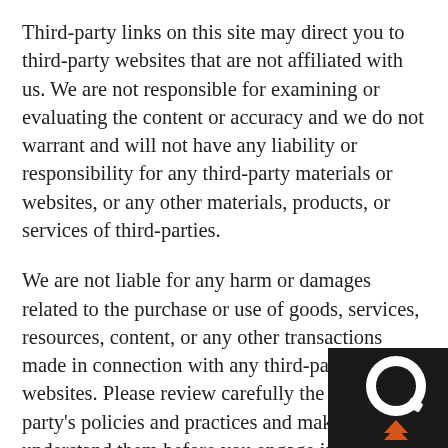Third-party links on this site may direct you to third-party websites that are not affiliated with us. We are not responsible for examining or evaluating the content or accuracy and we do not warrant and will not have any liability or responsibility for any third-party materials or websites, or any other materials, products, or services of third-parties.
We are not liable for any harm or damages related to the purchase or use of goods, services, resources, content, or any other transactions made in connection with any third-party websites. Please review carefully the third-party's policies and practices and make sure you understand them before you engage in any transaction. Complaints, claims, concerns, or questions regarding third-party products should be directed to the third-party.
SECTION 9 - USER COMMENTS,